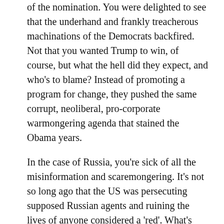of the nomination. You were delighted to see that the underhand and frankly treacherous machinations of the Democrats backfired. Not that you wanted Trump to win, of course, but what the hell did they expect, and who's to blame? Instead of promoting a program for change, they pushed the same corrupt, neoliberal, pro-corporate warmongering agenda that stained the Obama years.
In the case of Russia, you're sick of all the misinformation and scaremongering. It's not so long ago that the US was persecuting supposed Russian agents and ruining the lives of anyone considered a 'red'. What's changed? Pro-Clinton newspapers and TV networks are trying to